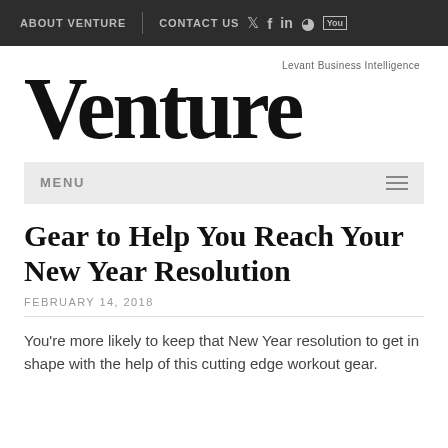ABOUT VENTURE | CONTACT US
[Figure (logo): Venture magazine logo with tagline 'Levant Business Intelligence']
MENU
Gear to Help You Reach Your New Year Resolution
FEBRUARY 14, 2018
You're more likely to keep that New Year resolution to get in shape with the help of this cutting edge workout gear.